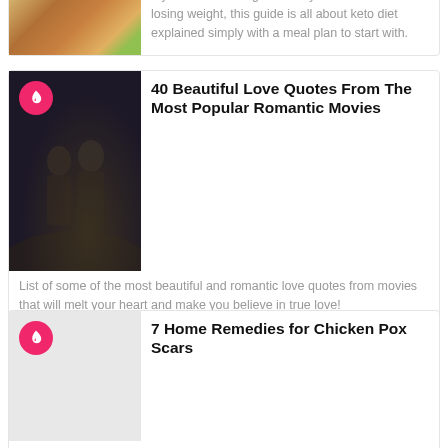[Figure (screenshot): Article card 1 (partial, cut off at top): food/keto image thumbnail with title 'Plan' visible and description about keto beginner guide with meal plan.]
Plan
If you are “keto beginner” or you know little about losing weight, this guide is all about keto diet explained simply with a meal plan to start with.
[Figure (screenshot): Article card 2: Movie scene thumbnail (Titanic-like romantic scene) with hot/trending fire badge icon. Title and description about love quotes from romantic movies.]
40 Beautiful Love Quotes From The Most Popular Romantic Movies
List of some of the most beautiful and romantic love quotes from movies that will melt your heart and make you believe in true love!
[Figure (screenshot): Article card 3: Gray placeholder thumbnail with hot/trending fire badge icon. Title and description about home remedies for chicken pox scars.]
7 Home Remedies for Chicken Pox Scars
Chicken pox is a common disease that leaves pesky scars on the body. Learn how to easily get rid of chicken pox scars with the help of home remedies.